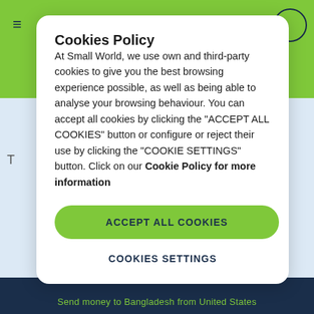Cookies Policy
At Small World, we use own and third-party cookies to give you the best browsing experience possible, as well as being able to analyse your browsing behaviour. You can accept all cookies by clicking the "ACCEPT ALL COOKIES" button or configure or reject their use by clicking the "COOKIE SETTINGS" button. Click on our Cookie Policy for more information
ACCEPT ALL COOKIES
COOKIES SETTINGS
Send money to Bangladesh from United States